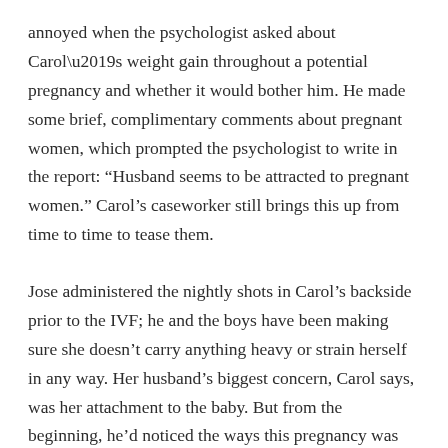annoyed when the psychologist asked about Carol’s weight gain throughout a potential pregnancy and whether it would bother him. He made some brief, complimentary comments about pregnant women, which prompted the psychologist to write in the report: “Husband seems to be attracted to pregnant women.” Carol’s caseworker still brings this up from time to time to tease them.
Jose administered the nightly shots in Carol’s backside prior to the IVF; he and the boys have been making sure she doesn’t carry anything heavy or strain herself in any way. Her husband’s biggest concern, Carol says, was her attachment to the baby. But from the beginning, he’d noticed the ways this pregnancy was different from the others, and has been reassured.
***